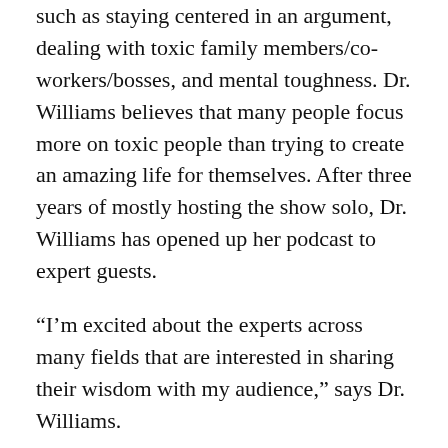such as staying centered in an argument, dealing with toxic family members/co-workers/bosses, and mental toughness. Dr. Williams believes that many people focus more on toxic people than trying to create an amazing life for themselves. After three years of mostly hosting the show solo, Dr. Williams has opened up her podcast to expert guests.
“I’m excited about the experts across many fields that are interested in sharing their wisdom with my audience,” says Dr. Williams.
Her first guest will be Faust A. Ruggiero author of “The Fix Yourself Handbook.” Ruggiero’s professional career spans almost 40 years, and is diversified and compelling, as it has consistently